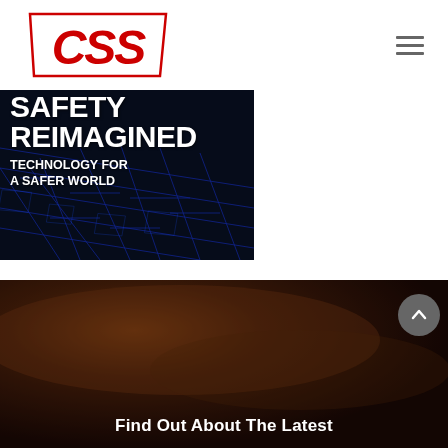[Figure (logo): CSS company logo - red stylized 'CSS' lettering with parallelogram border]
[Figure (photo): Dark background with blue circuit/map grid lines overlay. White bold text reads: SAFETY REIMAGINED / TECHNOLOGY FOR A SAFER WORLD]
[Figure (photo): Blurred brown/dark photograph background section]
Find Out About The Latest